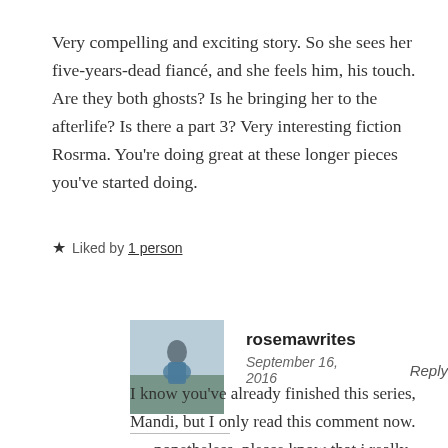Very compelling and exciting story. So she sees her five-years-dead fiancé, and she feels him, his touch. Are they both ghosts? Is he bringing her to the afterlife? Is there a part 3? Very interesting fiction Rosrma. You're doing great at these longer pieces you've started doing.
★ Liked by 1 person
rosemawrites
September 16, 2016    Reply
I know you've already finished this series, Mandi, but I only read this comment now. -_- nonetheless, please know that i really really really value your